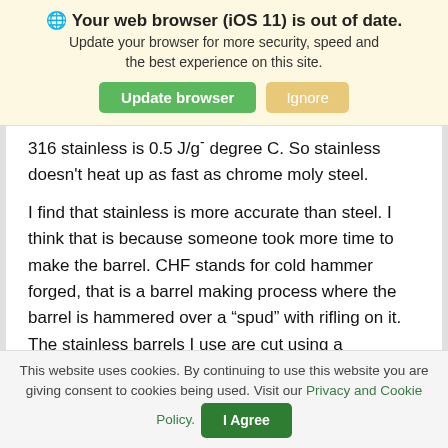🌐 Your web browser (iOS 11) is out of date. Update your browser for more security, speed and the best experience on this site. [Update browser] [Ignore]
316 stainless is 0.5 J/g-degree C. So stainless doesn't heat up as fast as chrome moly steel.
I find that stainless is more accurate than steel. I think that is because someone took more time to make the barrel. CHF stands for cold hammer forged, that is a barrel making process where the barrel is hammered over a “spud” with rifling on it. The stainless barrels I use are cut using a
This website uses cookies. By continuing to use this website you are giving consent to cookies being used. Visit our Privacy and Cookie Policy. [I Agree]